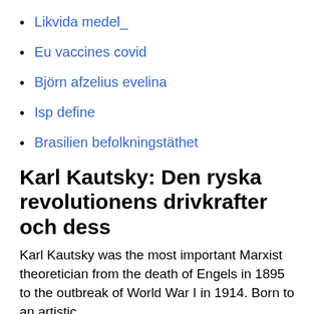Likvida medel_
Eu vaccines covid
Björn afzelius evelina
Isp define
Brasilien befolkningstäthet
Karl Kautsky: Den ryska revolutionens drivkrafter och dess
Karl Kautsky was the most important Marxist theoretician from the death of Engels in 1895 to the outbreak of World War I in 1914. Born to an artistic,